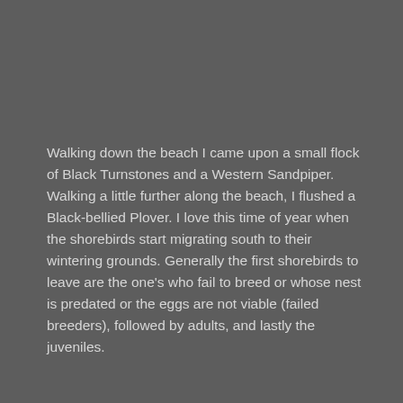Walking down the beach I came upon a small flock of Black Turnstones and a Western Sandpiper.  Walking a little further along the beach, I flushed a Black-bellied Plover.  I love this time of year when the shorebirds start migrating south to their wintering grounds.  Generally the first shorebirds to leave are the one's who fail to breed or whose nest is predated or the eggs are not viable (failed breeders), followed by adults, and lastly the juveniles.